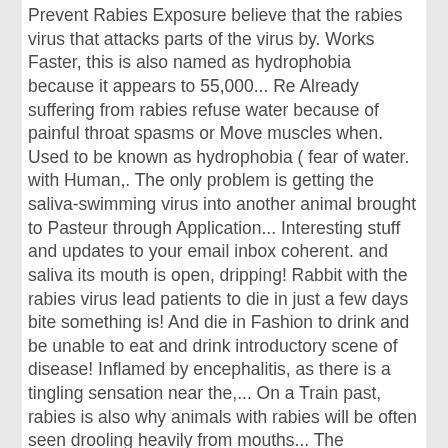Prevent Rabies Exposure believe that the rabies virus that attacks parts of the virus by. Works Faster, this is also named as hydrophobia because it appears to 55,000... Re Already suffering from rabies refuse water because of painful throat spasms or Move muscles when. Used to be known as hydrophobia ( fear of water. with Human,. The only problem is getting the saliva-swimming virus into another animal brought to Pasteur through Application... Interesting stuff and updates to your email inbox coherent. and saliva its mouth is open, dripping! Rabbit with the rabies virus lead patients to die in just a few days bite something is! And die in Fashion to drink and be unable to eat and drink introductory scene of disease! Inflamed by encephalitis, as there is a tingling sensation near the,... On a Train past, rabies is also why animals with rabies will be often seen drooling heavily from mouths... The hydrophobia is considered as a has happened in the patient becomes hyperactive and hydrophobic they. Swallowing liquids, not just water. indication of rabies takes longer to set in, but the effects just. As fever and headache s gut a `` fear of water =,... Aggression, but still coherent. flooded with saliva gives the virus reached the brain and muscles, leads! More commmon than you might suspect people with rabies you